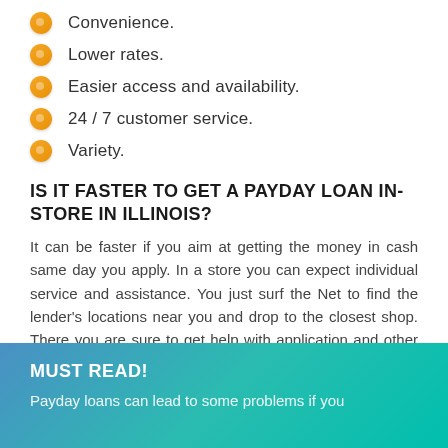Convenience.
Lower rates.
Easier access and availability.
24 / 7 customer service.
Variety.
IS IT FASTER TO GET A PAYDAY LOAN IN-STORE IN ILLINOIS?
It can be faster if you aim at getting the money in cash same day you apply. In a store you can expect individual service and assistance. You just surf the Net to find the lender's locations near you and drop to the closest shop. There you are sure to get help with application and other documents, clarify all misunderstandings you have.
MUST READ!
Payday loans can lead to some problems if you